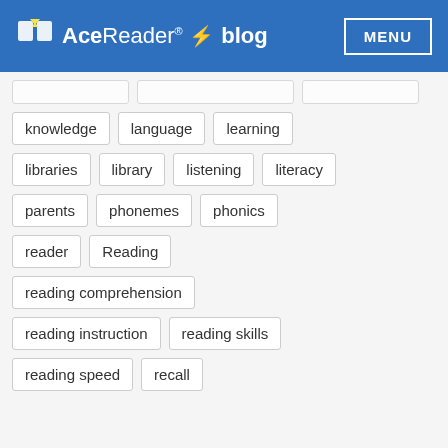AceReader® blog  MENU
knowledge
language
learning
libraries
library
listening
literacy
parents
phonemes
phonics
reader
Reading
reading comprehension
reading instruction
reading skills
reading speed
recall